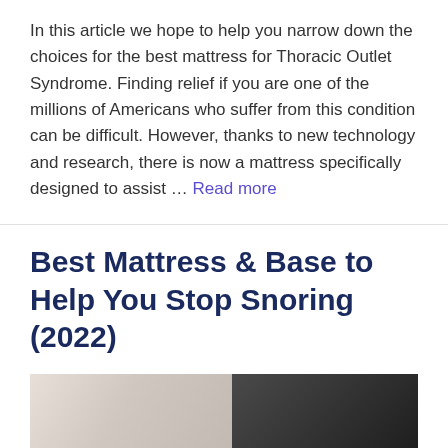In this article we hope to help you narrow down the choices for the best mattress for Thoracic Outlet Syndrome. Finding relief if you are one of the millions of Americans who suffer from this condition can be difficult. However, thanks to new technology and research, there is now a mattress specifically designed to assist … Read more
Best Mattress & Base to Help You Stop Snoring (2022)
[Figure (photo): Photo of a person lying in bed, partially visible, with dark curtains or background in the right portion of the image.]